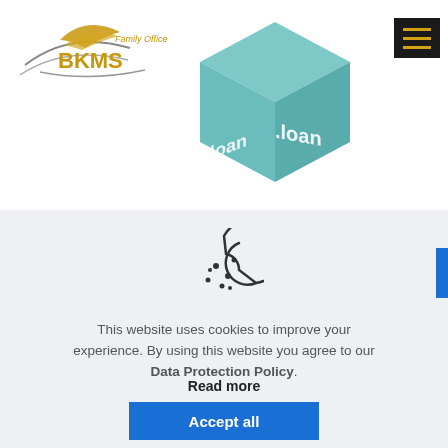[Figure (logo): BKMS Family Office logo with curved lines and golden text]
[Figure (illustration): 3D teal/mint cube with .loan text on multiple faces]
[Figure (illustration): Cookie icon - outline drawing of a bitten cookie with dots]
This website uses cookies to improve your experience. By using this website you agree to our Data Protection Policy.
Read more
Accept all